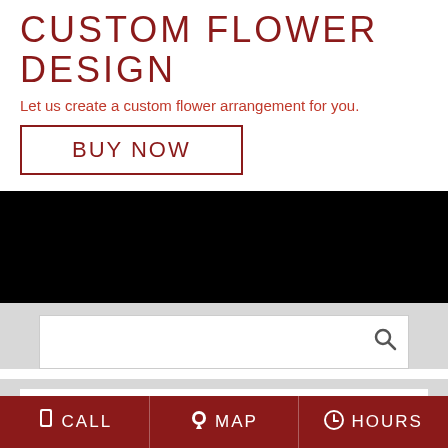CUSTOM FLOWER DESIGN
Let us create a custom flower arrangement for you.
BUY NOW
[Figure (photo): Black background section (decorative image area, entirely black)]
FLOWER DELIVERY TO DUNN, NC
SEE DELIVERY AREAS
CALL  MAP  HOURS